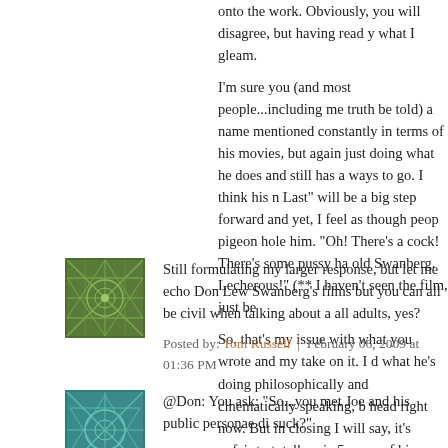onto the work. Obviously, you will disagree, but having read y what I gleam.
I'm sure you (and most people...including me truth be told) a name mentioned constantly in terms of his movies, but again just doing what he does and still has a ways to go. I think his n Last" will be a big step forward and yet, I feel as though peop pigeon hole him. "Oh! There's a cock! There's some pussy ha old Swanberg. Lecherous!" (** I haven't seen the film, just be
So, that's my issue with what you wrote and my take on it. I d what he's doing philosophically and cinematically speaking, b head right now. But in closing I will say, it's unfair to totally rej 5 years of his career. It's FIVE YEARS. I mean....really people.
Posted by: don lewis | February 06, 2009 at 01:12 PM
[Figure (illustration): Green geometric pattern avatar image for Tom Russell]
Still formulating my larger response, but let me echo Don Lew Swanberg's films but you can all be civil when talking about a all adults, yes?
Posted by: Tom Russell | February 06, 2009 at 01:36 PM
[Figure (illustration): Teal/green geometric pattern avatar image]
@Don: You ask: "So...you met Joe and his public personae di suck?"